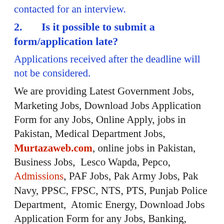contacted for an interview.
2.   Is it possible to submit a form/application late?
Applications received after the deadline will not be considered.
We are providing Latest Government Jobs, Marketing Jobs, Download Jobs Application Form for any Jobs, Online Apply, jobs in Pakistan, Medical Department Jobs, Murtazaweb.com, online jobs in Pakistan, Business Jobs, Lesco Wapda, Pepco, Admissions, PAF Jobs, Pak Army Jobs, Pak Navy, PPSC, FPSC, NTS, PTS, Punjab Police Department, Atomic Energy, Download Jobs Application Form for any Jobs, Banking, Medical, Teaching Jobs.
Disclaimer: Before you apply for a job or give an advance to a like officer, confirm everything. We are not liable for any